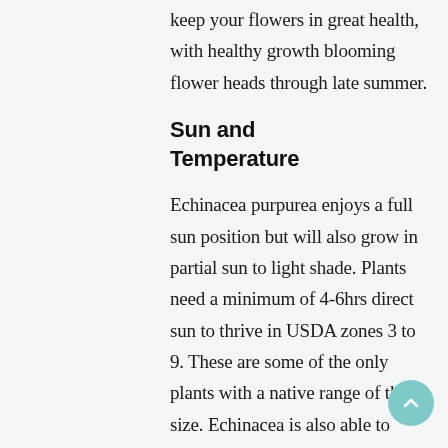keep your flowers in great health, with healthy growth blooming flower heads through late summer.
Sun and Temperature
Echinacea purpurea enjoys a full sun position but will also grow in partial sun to light shade. Plants need a minimum of 4-6hrs direct sun to thrive in USDA zones 3 to 9. These are some of the only plants with a native range of this size. Echinacea is also able to...